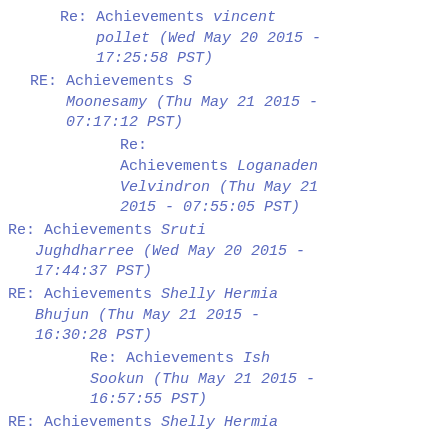Re: Achievements vincent pollet (Wed May 20 2015 - 17:25:58 PST)
RE: Achievements S Moonesamy (Thu May 21 2015 - 07:17:12 PST)
Re: Achievements Loganaden Velvindron (Thu May 21 2015 - 07:55:05 PST)
Re: Achievements Sruti Jughdharree (Wed May 20 2015 - 17:44:37 PST)
RE: Achievements Shelly Hermia Bhujun (Thu May 21 2015 - 16:30:28 PST)
Re: Achievements Ish Sookun (Thu May 21 2015 - 16:57:55 PST)
RE: Achievements Shelly Hermia